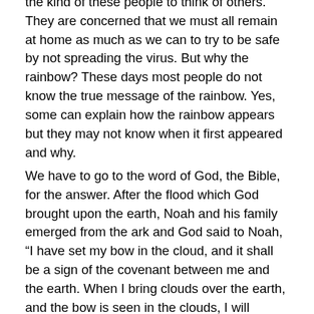the kind of these people to think of others. They are concerned that we must all remain at home as much as we can to try to be safe by not spreading the virus. But why the rainbow? These days most people do not know the true message of the rainbow. Yes, some can explain how the rainbow appears but they may not know when it first appeared and why.
We have to go to the word of God, the Bible, for the answer. After the flood which God brought upon the earth, Noah and his family emerged from the ark and God said to Noah, “I have set my bow in the cloud, and it shall be a sign of the covenant between me and the earth. When I bring clouds over the earth, and the bow is seen in the clouds, I will remember my covenant, that is between me and you and every living creature of all flesh. And the waters shall never again become a flood to destroy all flesh. When the bow is in the clouds I will see it and remember the everlasting covenant between God and every living creature of all flesh that is on the